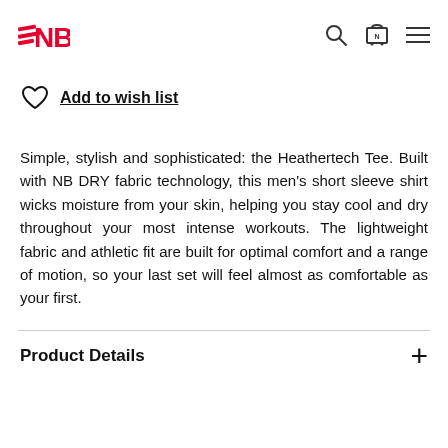[Figure (logo): New Balance logo — red stylized N and B with speed lines]
Add to wish list
Simple, stylish and sophisticated: the Heathertech Tee. Built with NB DRY fabric technology, this men's short sleeve shirt wicks moisture from your skin, helping you stay cool and dry throughout your most intense workouts. The lightweight fabric and athletic fit are built for optimal comfort and a range of motion, so your last set will feel almost as comfortable as your first.
Product Details